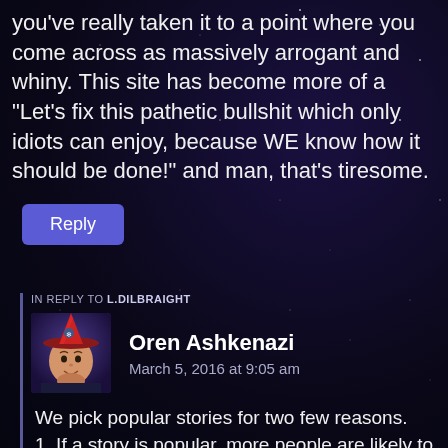you've really taken it to a point where you come across as massively arrogant and whiny. This site has become more of a “Let’s fix this pathetic bullshit which only idiots can enjoy, because WE know how it should be done!” and man, that’s tiresome.
Reply
IN REPLY TO L.DILBRAIGHT
Oren Ashkenazi
March 5, 2016 at 9:05 am
We pick popular stories for two few reasons.
1. If a story is popular, more people are likely to have heard of it, and as such will know what
[Figure (illustration): Avatar of Oren Ashkenazi: illustrated portrait with red witch hat and blue/purple background]